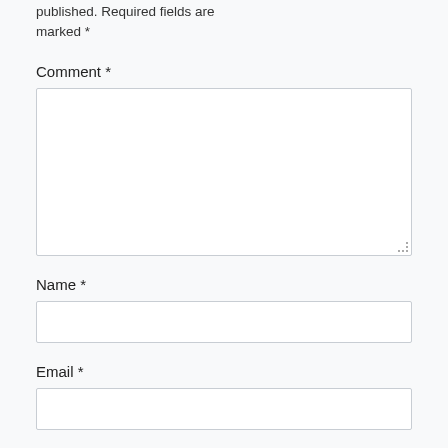published. Required fields are marked *
Comment *
[Figure (other): Comment textarea input field]
Name *
[Figure (other): Name text input field]
Email *
[Figure (other): Email text input field (partially visible)]